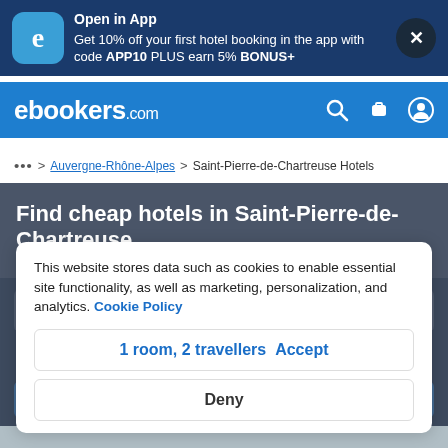[Figure (screenshot): ebookers.com mobile website screenshot showing app download banner, site header with logo and icons, breadcrumb navigation, hotel search hero section for Saint-Pierre-de-Chartreuse, and a cookie consent overlay with Accept and Deny buttons]
Open in App
Get 10% off your first hotel booking in the app with code APP10 PLUS earn 5% BONUS+
ebookers.com
... > Auvergne-Rhône-Alpes > Saint-Pierre-de-Chartreuse Hotels
Find cheap hotels in Saint-Pierre-de-Chartreuse
Hotels from £44
This website stores data such as cookies to enable essential site functionality, as well as marketing, personalization, and analytics. Cookie Policy
1 room, 2 travellers  Accept
Deny